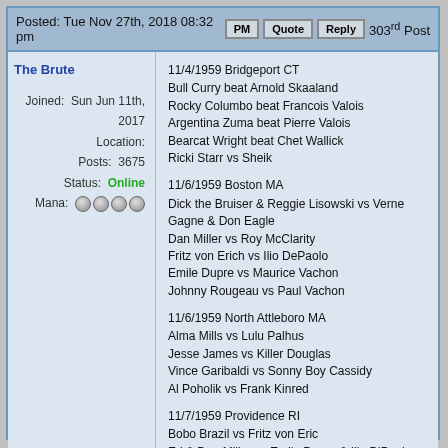Posted: Tue Nov 27th, 2018 08:32 pm   PM  Quote  Reply  303rd Post
The Brute
Joined: Sun Jun 11th, 2017
Location:
Posts: 3675
Status: Online
Mana: 4 icons
11/4/1959 Bridgeport CT
Bull Curry beat Arnold Skaaland
Rocky Columbo beat Francois Valois
Argentina Zuma beat Pierre Valois
Bearcat Wright beat Chet Wallick
Ricki Starr vs Sheik

11/6/1959 Boston MA
Dick the Bruiser & Reggie Lisowski vs Verne Gagne & Don Eagle
Dan Miller vs Roy McClarity
Fritz von Erich vs Ilio DePaolo
Emile Dupre vs Maurice Vachon
Johnny Rougeau vs Paul Vachon

11/6/1959 North Attleboro MA
Alma Mills vs Lulu Palhus
Jesse James vs Killer Douglas
Vince Garibaldi vs Sonny Boy Cassidy
Al Poholik vs Frank Kinred

11/7/1959 Providence RI
Bobo Brazil vs Fritz von Eric
Ed & Dan Miller vs Emile Dupre & Ilio DiPaolo
Roy McClarity vs Paul Vachon

11/7/1959 Revere MA
Jesse James & Tony Enos vs Curt Douglas & Frank Kinred
Black Terror & Buzz Orio vs Dick Marquis & Al Poholik
Vince Garibaldi vs Sonny Boy Cassidy